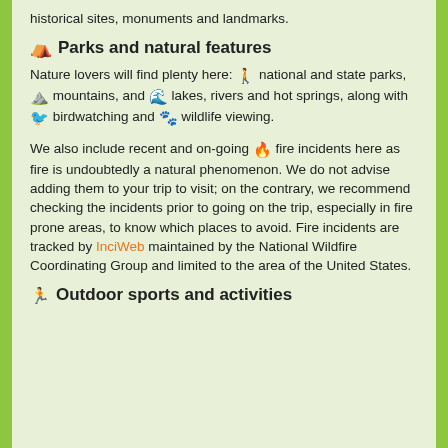historical sites, monuments and landmarks.
Parks and natural features
Nature lovers will find plenty here: 🧑 national and state parks, ⛰ mountains, and 🌊 lakes, rivers and hot springs, along with 🐦 birdwatching and 🐾 wildlife viewing.
We also include recent and on-going 🔥 fire incidents here as fire is undoubtedly a natural phenomenon. We do not advise adding them to your trip to visit; on the contrary, we recommend checking the incidents prior to going on the trip, especially in fire prone areas, to know which places to avoid. Fire incidents are tracked by InciWeb maintained by the National Wildfire Coordinating Group and limited to the area of the United States.
Outdoor sports and activities